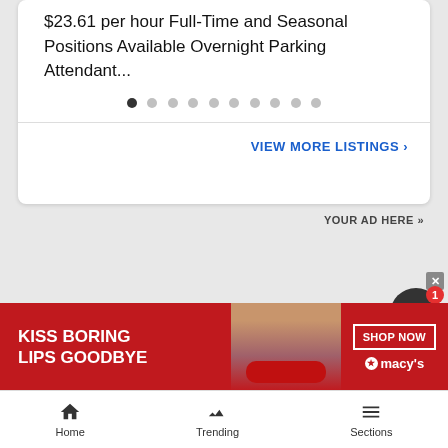$23.61 per hour Full-Time and Seasonal Positions Available Overnight Parking Attendant...
VIEW MORE LISTINGS »
YOUR AD HERE »
[Figure (illustration): Macy's advertisement banner showing a woman with red lips and text 'KISS BORING LIPS GOODBYE' with SHOP NOW button and Macy's logo]
Home
Trending
Sections